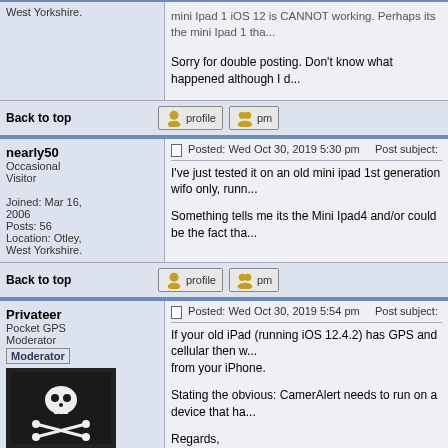mini Ipad 1 iOS 12 is CANNOT working. Perhaps its the mini Ipad 1 tha...
Sorry for double posting. Don't know what happened although I d...
Back to top
nearly50
Occasional Visitor
Joined: Mar 16, 2006
Posts: 56
Location: Otley, West Yorkshire.
Posted: Wed Oct 30, 2019 5:30 pm    Post subject:
I've just tested it on an old mini ipad 1st generation wifo only, runn...
Something tells me its the Mini Ipad4 and/or could be the fact tha...
Back to top
Privateer
Pocket GPS Moderator
Posted: Wed Oct 30, 2019 5:54 pm    Post subject:
If your old iPad (running iOS 12.4.2) has GPS and cellular then w... from your iPhone.
Stating the obvious: CamerAlert needs to run on a device that ha...
Regards,
Robert.
iPhone 6s Plus, iOS 14.0.1: iOS CamerAlert v2.0.7
TomTom GO Mobile iOS 2.3.1: TomTom (UK & ROI and Europe)...
Joined: 30/12/2002 17:36:20
Posts: 4902
Location: Oxfordshire, England, UK